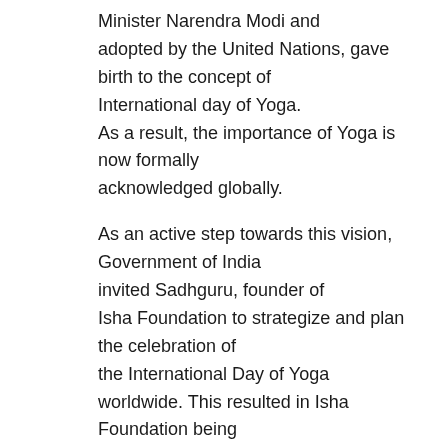Minister Narendra Modi and adopted by the United Nations, gave birth to the concept of International day of Yoga. As a result, the importance of Yoga is now formally acknowledged globally.
As an active step towards this vision, Government of India invited Sadhguru, founder of Isha Foundation to strategize and plan the celebration of the International Day of Yoga worldwide. This resulted in Isha Foundation being appointed as a supporting partner to all the Indian Embassies worldwide, by offering free yoga workshops, demonstrations and classes on the day of and the weeks leading to June 21st, 2015.
Isha Foundation's vision for 'International Day of Yoga' is to offer free yogic practices
to all Australians. These practices can be done daily within